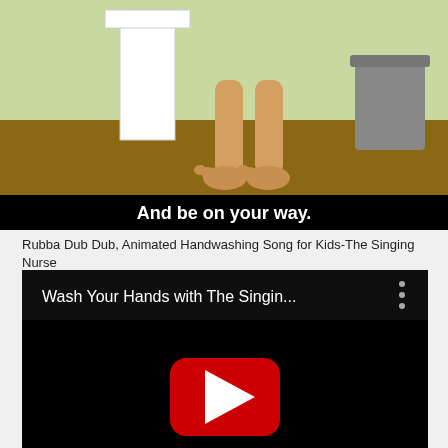[Figure (screenshot): Animated cartoon screenshot showing character feet near a sink/pedestal with text 'And be on your way.' at the bottom on a black bar.]
Rubba Dub Dub, Animated Handwashing Song for Kids-The Singing Nurse
[Figure (screenshot): YouTube video embed with black background showing title 'Wash Your Hands with The Singin...' and a three-dot menu icon, with a YouTube play button (red rounded rectangle with white triangle) in the center.]